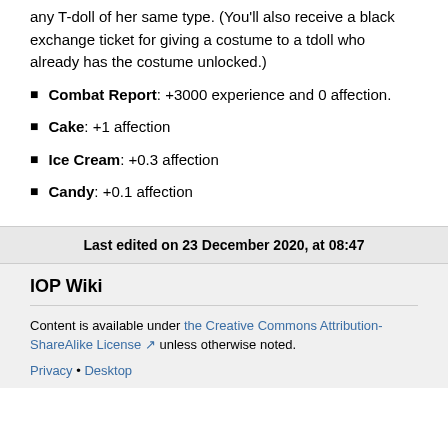any T-doll of her same type. (You'll also receive a black exchange ticket for giving a costume to a tdoll who already has the costume unlocked.)
Combat Report: +3000 experience and 0 affection.
Cake: +1 affection
Ice Cream: +0.3 affection
Candy: +0.1 affection
Last edited on 23 December 2020, at 08:47
IOP Wiki
Content is available under the Creative Commons Attribution-ShareAlike License unless otherwise noted.
Privacy • Desktop